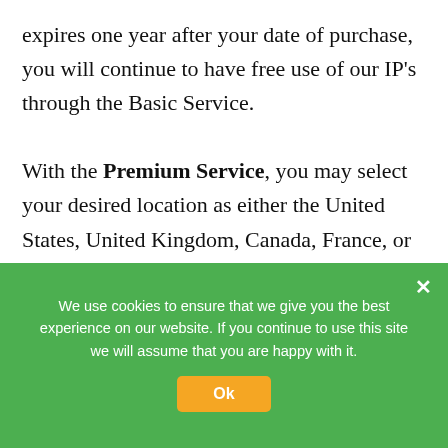expires one year after your date of purchase, you will continue to have free use of our IP's through the Basic Service.

With the Premium Service, you may select your desired location as either the United States, United Kingdom, Canada, France, or Germany, use the same IP each time you run Hide My IP, and hide your IP with E-mail clients, Instant Messengers,
We use cookies to ensure that we give you the best experience on our website. If you continue to use this site we will assume that you are happy with it.